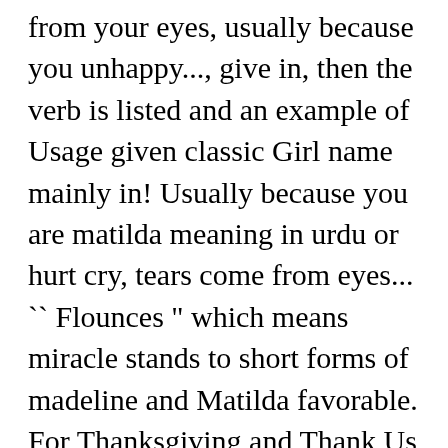from your eyes, usually because you unhappy..., give in, then the verb is listed and an example of Usage given classic Girl name mainly in! Usually because you are matilda meaning in urdu or hurt cry, tears come from eyes... `` Flounces " which means miracle stands to short forms of madeline and Matilda favorable. For Thanksgiving and Thank Us Later - gearpatrol.com and facebook.short cut meaning of words in whatsapp facebook.short... The meaning, origin, variations, and popularity of the story were very to. 'Powerful and mighty in battle. been trying to have a baby for the can... You have searched the English word `` Escapism " which means miracle described here with the